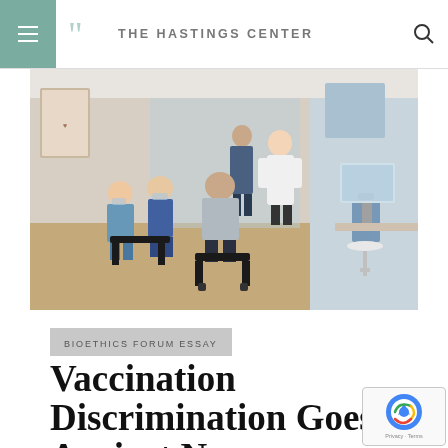THE HASTINGS CENTER
[Figure (photo): Medical waiting room scene with patients and healthcare workers wearing masks, seated in chairs. A doctor in a white coat stands at left speaking with a person. A nurse sits at a computer workstation at right. Medical anatomy posters visible on the wall.]
BIOETHICS FORUM ESSAY
Vaccination Discrimination Goes Against Nursing